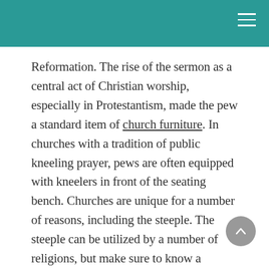Reformation. The rise of the sermon as a central act of Christian worship, especially in Protestantism, made the pew a standard item of church furniture. In churches with a tradition of public kneeling prayer, pews are often equipped with kneelers in front of the seating bench. Churches are unique for a number of reasons, including the steeple. The steeple can be utilized by a number of religions, but make sure to know a quality maintenance program.
A steeple is located in an awkward place and